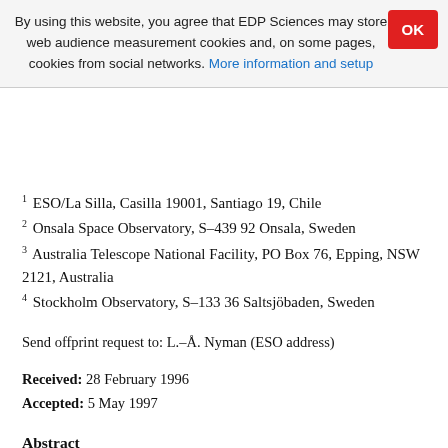By using this website, you agree that EDP Sciences may store web audience measurement cookies and, on some pages, cookies from social networks. More information and setup
1 ESO/La Silla, Casilla 19001, Santiago 19, Chile
2 Onsala Space Observatory, S–439 92 Onsala, Sweden
3 Australia Telescope National Facility, PO Box 76, Epping, NSW 2121, Australia
4 Stockholm Observatory, S–133 36 Saltsjöbaden, Sweden
Send offprint request to: L.–Å. Nyman (ESO address)
Received: 28 February 1996
Accepted: 5 May 1997
Abstract
We present a search for SiO masers towards a sample of 126 circumstellar envelopes...